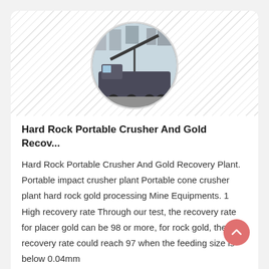[Figure (photo): Circular thumbnail photo of a portable crusher/mining equipment on a truck, shown in a courtyard with buildings in background. Displayed inside a circle with a hatched diagonal background pattern.]
Hard Rock Portable Crusher And Gold Recov...
Hard Rock Portable Crusher And Gold Recovery Plant. Portable impact crusher plant Portable cone crusher plant hard rock gold processing Mine Equipments. 1 High recovery rate Through our test, the recovery rate for placer gold can be 98 or more, for rock gold, the recovery rate could reach 97 when the feeding size is below 0.04mm
[Figure (photo): Partial circular thumbnail photo of mining/processing equipment, partially visible at the bottom of the page. Shown with hatched diagonal background pattern.]